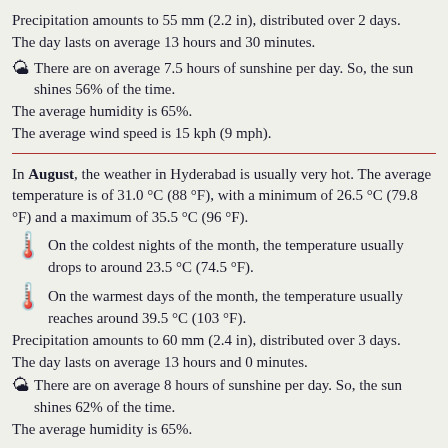Precipitation amounts to 55 mm (2.2 in), distributed over 2 days. The day lasts on average 13 hours and 30 minutes.
☀ There are on average 7.5 hours of sunshine per day. So, the sun shines 56% of the time.
The average humidity is 65%.
The average wind speed is 15 kph (9 mph).
In August, the weather in Hyderabad is usually very hot. The average temperature is of 31.0 °C (88 °F), with a minimum of 26.5 °C (79.8 °F) and a maximum of 35.5 °C (96 °F).
🌡 On the coldest nights of the month, the temperature usually drops to around 23.5 °C (74.5 °F).
🌡 On the warmest days of the month, the temperature usually reaches around 39.5 °C (103 °F).
Precipitation amounts to 60 mm (2.4 in), distributed over 3 days.
The day lasts on average 13 hours and 0 minutes.
☀ There are on average 8 hours of sunshine per day. So, the sun shines 62% of the time.
The average humidity is 65%.